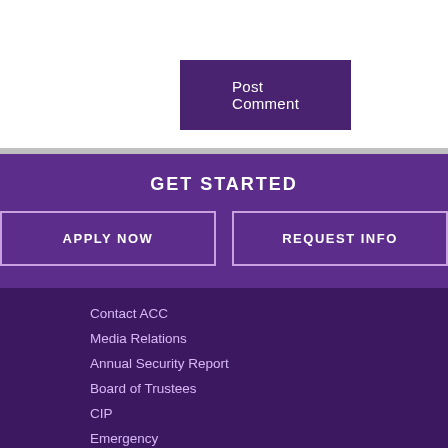Post Comment
GET STARTED
APPLY NOW
REQUEST INFO
Contact ACC
Media Relations
Annual Security Report
Board of Trustees
CIP
Emergency